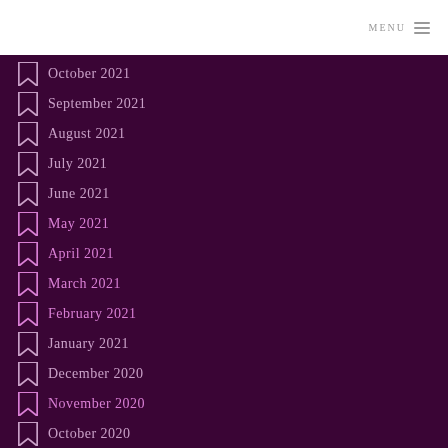MENU
October 2021
September 2021
August 2021
July 2021
June 2021
May 2021
April 2021
March 2021
February 2021
January 2021
December 2020
November 2020
October 2020